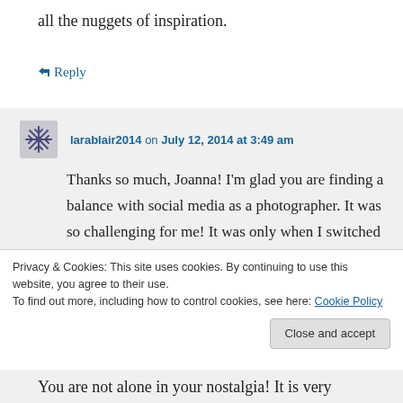all the nuggets of inspiration.
↪ Reply
larablair2014 on July 12, 2014 at 3:49 am
Thanks so much, Joanna! I'm glad you are finding a balance with social media as a photographer. It was so challenging for me! It was only when I switched careers that I was ready to let it go. Best to you!
Privacy & Cookies: This site uses cookies. By continuing to use this website, you agree to their use.
To find out more, including how to control cookies, see here: Cookie Policy
Close and accept
You are not alone in your nostalgia! It is very